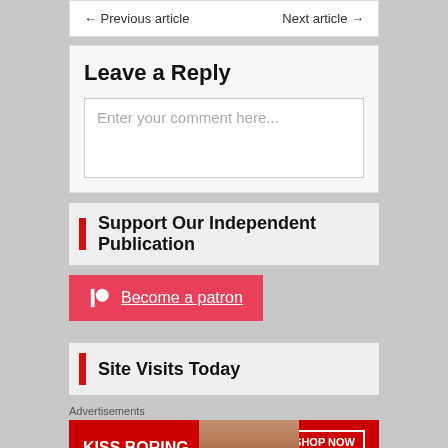← Previous article   Next article →
Leave a Reply
Enter your comment here...
Support Our Independent Publication
Become a patron
Site Visits Today
Advertisements
[Figure (photo): Macy's advertisement banner: KISS BORING LIPS GOODBYE with SHOP NOW button and Macy's star logo]